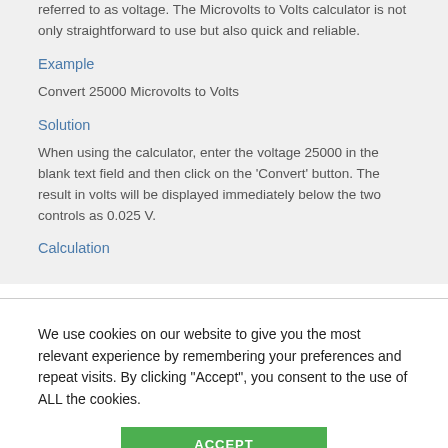referred to as voltage. The Microvolts to Volts calculator is not only straightforward to use but also quick and reliable.
Example
Convert 25000 Microvolts to Volts
Solution
When using the calculator, enter the voltage 25000 in the blank text field and then click on the 'Convert' button. The result in volts will be displayed immediately below the two controls as 0.025 V.
Calculation
We use cookies on our website to give you the most relevant experience by remembering your preferences and repeat visits. By clicking "Accept", you consent to the use of ALL the cookies.